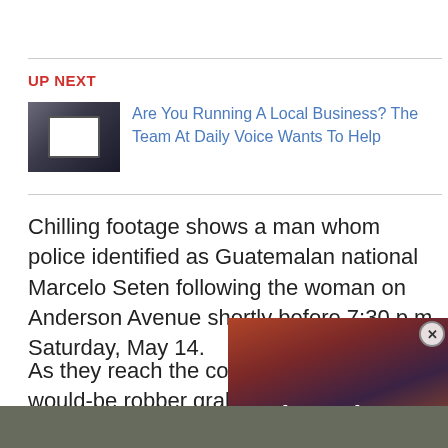UP NEXT
Are You Running A Local Business? The Team At Daily Voice Wants To Help
Chilling footage shows a man whom police identified as Guatemalan national Marcelo Seten following the woman on Anderson Avenue shortly before 7:30 p.m. Saturday, May 14.
As they reach the corner at [obscured] would-be robber grabs her [obscured] a stairwell.
[Figure (screenshot): Bloomberg video overlay with play button and close button]